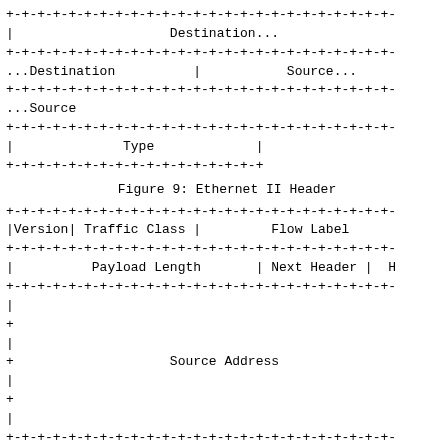[Figure (schematic): ASCII art diagram of Ethernet II Header showing Destination and Source MAC address fields and Type field in a box-drawing format]
Figure 9: Ethernet II Header
[Figure (schematic): ASCII art diagram of IPv6 Header showing Version, Traffic Class, Flow Label, Payload Length, Next Header, Hop Limit, Source Address, and Destination Address fields in a box-drawing format]